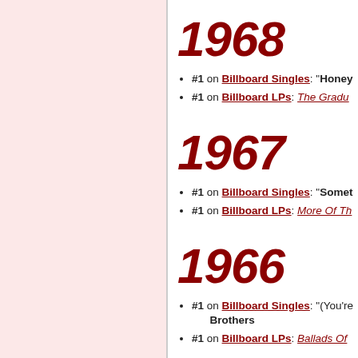[Figure (other): Left pink sidebar panel]
1968
#1 on Billboard Singles: "Honey...
#1 on Billboard LPs: The Gradu...
1967
#1 on Billboard Singles: "Somet...
#1 on Billboard LPs: More Of Th...
1966
#1 on Billboard Singles: "(You're... Brothers
#1 on Billboard LPs: Ballads Of...